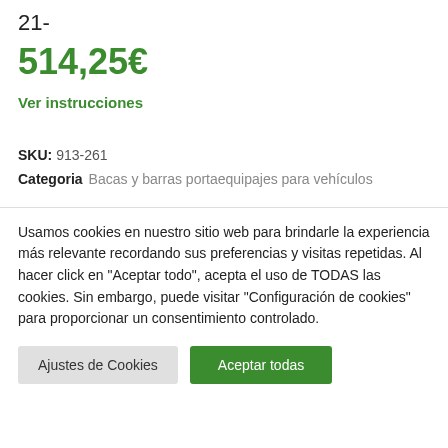21-
514,25€
Ver instrucciones
SKU: 913-261
Categoria   Bacas y barras portaequipajes para vehículos
Usamos cookies en nuestro sitio web para brindarle la experiencia más relevante recordando sus preferencias y visitas repetidas. Al hacer click en "Aceptar todo", acepta el uso de TODAS las cookies. Sin embargo, puede visitar "Configuración de cookies" para proporcionar un consentimiento controlado.
Ajustes de Cookies
Aceptar todas